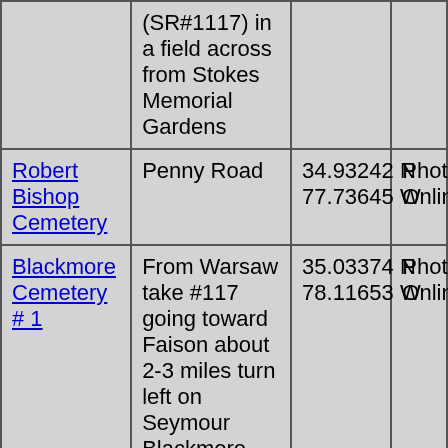| Cemetery | Directions | Coordinates | Photos |
| --- | --- | --- | --- |
|  | (SR#1117) in a field across from Stokes Memorial Gardens |  |  |
| Robert Bishop Cemetery | Penny Road | 34.93242 N 77.73645 W | Photos Online |
| Blackmore Cemetery # 1 | From Warsaw take #117 going toward Faison about 2-3 miles turn left on Seymour Blackmore Cemetery is located about 1 mile on left. | 35.03374 N 78.11653 W | Photos Online |
| Blackmore Cemetery # 2 | Take Highway # 117 from Warsaw going toward Faison About 2- 3 turn left on Seymore Blackmore road at the stop turn left on | 35.03374 N 78.11653 W | Photos Online |